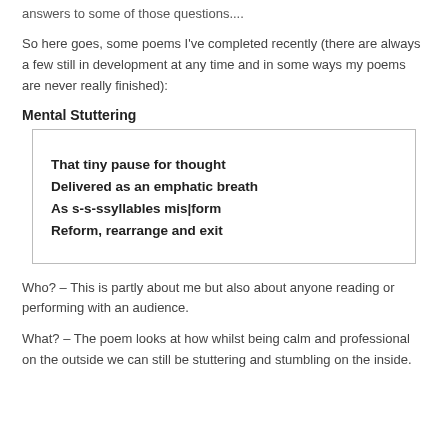answers to some of those questions....
So here goes, some poems I've completed recently (there are always a few still in development at any time and in some ways my poems are never really finished):
Mental Stuttering
[Figure (other): A bordered text box showing lines of a poem: 'That tiny pause for thought / Delivered as an emphatic breath / As s-s-ssyllables mis|form / Reform, rearrange and exit' with partial lines clipped at top and bottom]
Who? – This is partly about me but also about anyone reading or performing with an audience.
What? – The poem looks at how whilst being calm and professional on the outside we can still be stuttering and stumbling on the inside.